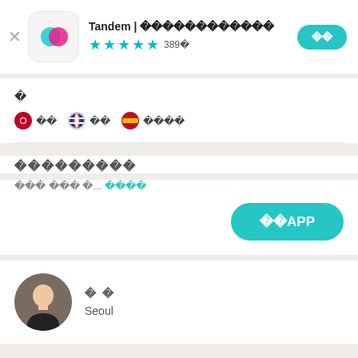Tandem | 언어교환 파트너 찾기
⬛
🇯🇵 일본어  🇷🇺 러시아어  🇪🇸 스페인어
언어교환 파트너
지금 바로 시작 해...더보기
앱 열기 APP
박 진
Seoul